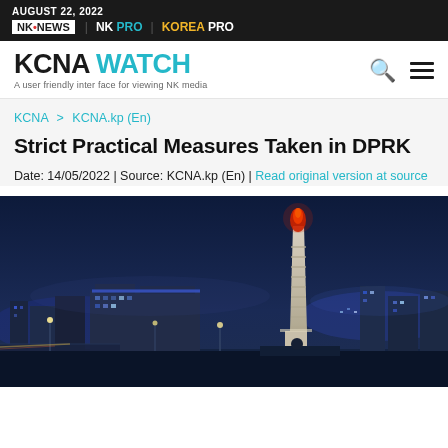AUGUST 22, 2022 | NK NEWS | NK PRO | KOREA PRO
KCNA WATCH — A user friendly interface for viewing NK media
KCNA > KCNA.kp (En)
Strict Practical Measures Taken in DPRK
Date: 14/05/2022 | Source: KCNA.kp (En) | Read original version at source
[Figure (photo): Night cityscape of Pyongyang, North Korea, with a tall illuminated obelisk/tower (Juche Tower) prominently in the foreground right, city lights visible in the background against a dark blue night sky.]